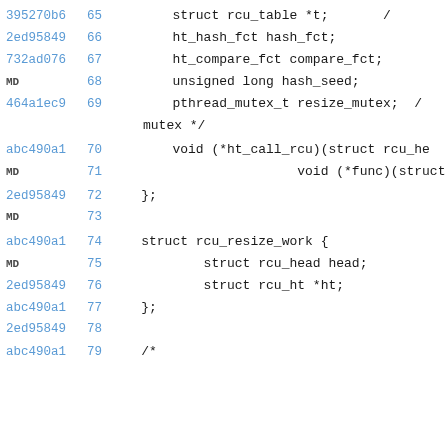Code listing showing C struct definitions with git blame annotations (hash, line numbers) for rcu_ht and rcu_resize_work structures
65: struct rcu_table *t;
66: ht_hash_fct hash_fct;
67: ht_compare_fct compare_fct;
68: unsigned long hash_seed;
69: pthread_mutex_t resize_mutex; /* mutex */
70: void (*ht_call_rcu)(struct rcu_he
71:                         void (*func)(struct
72: };
73:
74: struct rcu_resize_work {
75:         struct rcu_head head;
76:         struct rcu_ht *ht;
77: };
78:
79: /*